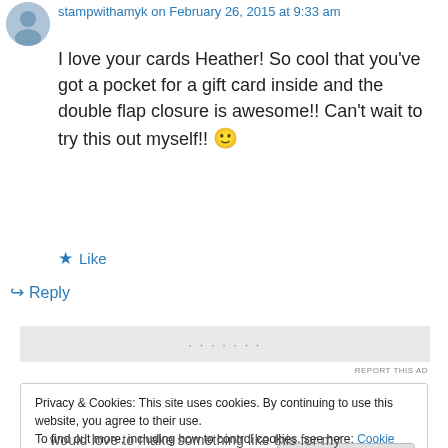stampwithamyk on February 26, 2015 at 9:33 am
I love your cards Heather! So cool that you've got a pocket for a gift card inside and the double flap closure is awesome!! Can't wait to try this out myself!! 🙂
★ Like
↪ Reply
[Figure (other): Advertisement bar with blurred/redacted content and REPORT THIS AD label]
Privacy & Cookies: This site uses cookies. By continuing to use this website, you agree to their use.
To find out more, including how to control cookies, see here: Cookie Policy
Close and accept
would love to make something like this for my